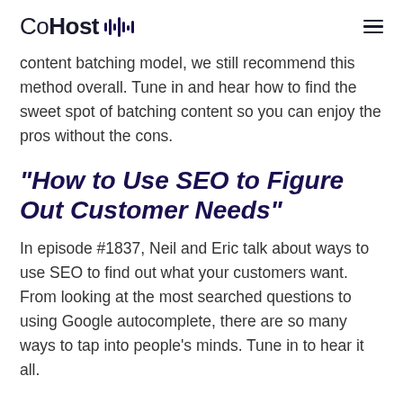CoHost
content batching model, we still recommend this method overall. Tune in and hear how to find the sweet spot of batching content so you can enjoy the pros without the cons.
"How to Use SEO to Figure Out Customer Needs"
In episode #1837, Neil and Eric talk about ways to use SEO to find out what your customers want. From looking at the most searched questions to using Google autocomplete, there are so many ways to tap into people's minds. Tune in to hear it all.